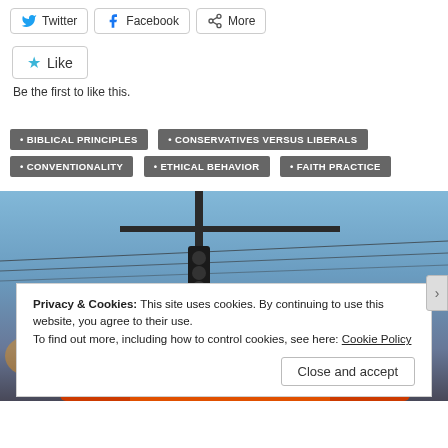[Figure (screenshot): Social share buttons: Twitter, Facebook, More]
[Figure (screenshot): Like button with star icon]
Be the first to like this.
BIBLICAL PRINCIPLES
CONSERVATIVES VERSUS LIBERALS
CONVENTIONALITY
ETHICAL BEHAVIOR
FAITH PRACTICE
[Figure (photo): School bus stopped at intersection at dusk/dawn, with traffic light and power lines visible against a blue sky]
Privacy & Cookies: This site uses cookies. By continuing to use this website, you agree to their use.
To find out more, including how to control cookies, see here: Cookie Policy
Close and accept